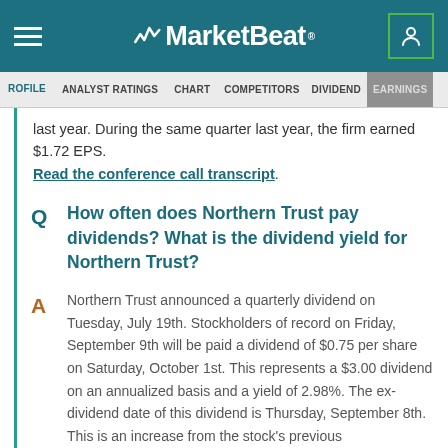MarketBeat
PROFILE  ANALYST RATINGS  CHART  COMPETITORS  DIVIDEND  EARNINGS
last year. During the same quarter last year, the firm earned $1.72 EPS. Read the conference call transcript.
Q  How often does Northern Trust pay dividends? What is the dividend yield for Northern Trust?
A  Northern Trust announced a quarterly dividend on Tuesday, July 19th. Stockholders of record on Friday, September 9th will be paid a dividend of $0.75 per share on Saturday, October 1st. This represents a $3.00 dividend on an annualized basis and a yield of 2.98%. The ex-dividend date of this dividend is Thursday, September 8th. This is an increase from the stock's previous